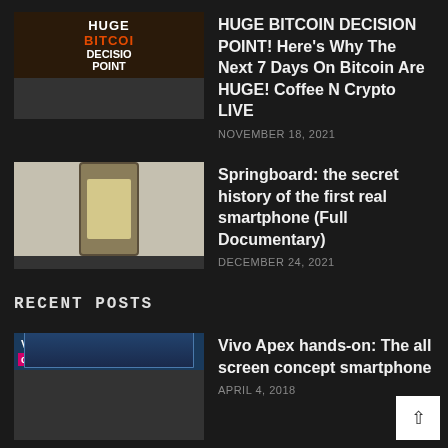[Figure (screenshot): Thumbnail image for Bitcoin Decision Point video with bold text HUGE BITCOIN DECISION POINT]
HUGE BITCOIN DECISION POINT! Here's Why The Next 7 Days On Bitcoin Are HUGE! Coffee N Crypto LIVE
NOVEMBER 18, 2021
[Figure (photo): Thumbnail image of an early smartphone device (yellow/brown colored handheld)]
Springboard: the secret history of the first real smartphone (Full Documentary)
DECEMBER 24, 2021
RECENT POSTS
[Figure (screenshot): Thumbnail for Vivo Apex hands-on video showing a smartphone with Vivo Apex label and 'conc' text on pink background]
Vivo Apex hands-on: The all screen concept smartphone
APRIL 4, 2018
[Figure (photo): Thumbnail for Colin Cowherd eSports video showing a man with a microphone against colorful background]
Colin Cowherd is upset about eSports| THE HERD
APRIL 4, 2018